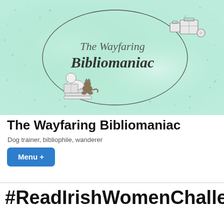[Figure (illustration): Blog banner with mint/teal watercolor background. An oval hand-drawn border encloses cursive text 'The Wayfaring' and display serif text 'Bibliomaniac'. On the left inside the oval is a small illustration of a person reading with a cat and a stack of books. On the upper right outside the oval are illustrated luggage/suitcase icons.]
The Wayfaring Bibliomaniac
Dog trainer, bibliophile, wanderer
Menu +
#ReadIrishWomenChallenge